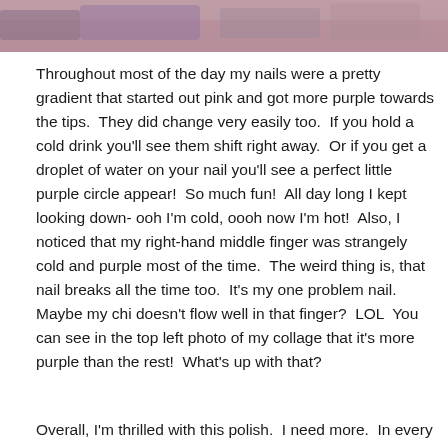[Figure (photo): A close-up photo of nails painted in a pink-to-purple gradient color, visible at the top of the page.]
Throughout most of the day my nails were a pretty gradient that started out pink and got more purple towards the tips.  They did change very easily too.  If you hold a cold drink you'll see them shift right away.  Or if you get a droplet of water on your nail you'll see a perfect little purple circle appear!  So much fun!  All day long I kept looking down- ooh I'm cold, oooh now I'm hot!  Also, I noticed that my right-hand middle finger was strangely cold and purple most of the time.  The weird thing is, that nail breaks all the time too.  It's my one problem nail.  Maybe my chi doesn't flow well in that finger?  LOL  You can see in the top left photo of my collage that it's more purple than the rest!  What's up with that?
Overall, I'm thrilled with this polish.  I need more.  In every